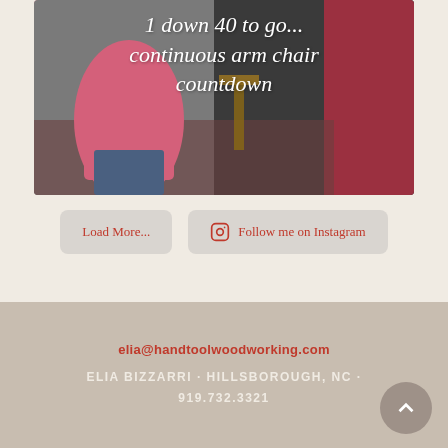[Figure (photo): Photo of a person in a pink shirt working on a chair in a workshop, with italic white text overlay reading '1 down 40 to go... continuous arm chair countdown']
Load More...
Follow me on Instagram
elia@handtoolwoodworking.com
ELIA BIZZARRI · HILLSBOROUGH, NC · 919.732.3321